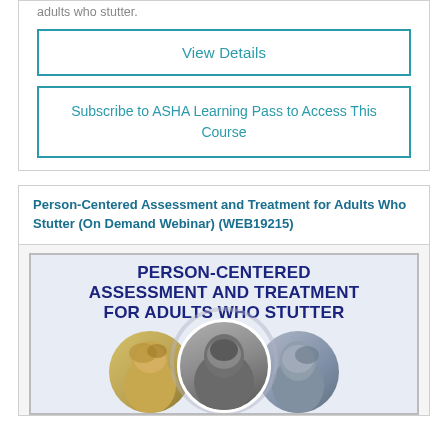adults who stutter.
View Details
Subscribe to ASHA Learning Pass to Access This Course
Person-Centered Assessment and Treatment for Adults Who Stutter (On Demand Webinar) (WEB19215)
[Figure (illustration): Promotional banner with bold dark blue text reading PERSON-CENTERED ASSESSMENT AND TREATMENT FOR ADULTS WHO STUTTER, with circular portrait photos of three individuals below the text on a light background.]